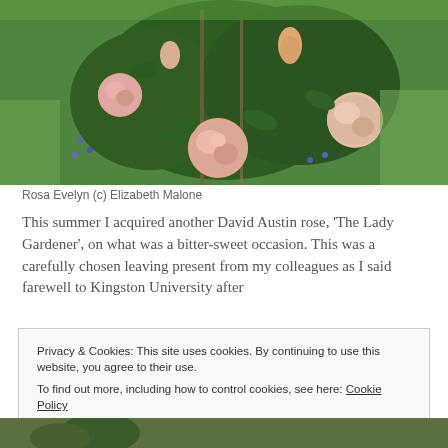[Figure (photo): A garden rose bush with pink peach blooms and green foliage, photographed outdoors on grass]
Rosa Evelyn (c) Elizabeth Malone
This summer I acquired another David Austin rose, 'The Lady Gardener', on what was a bitter-sweet occasion. This was a carefully chosen leaving present from my colleagues as I said farewell to Kingston University after
Privacy & Cookies: This site uses cookies. By continuing to use this website, you agree to their use.
To find out more, including how to control cookies, see here: Cookie Policy
[Figure (photo): Partial view of another photo at the bottom of the page]